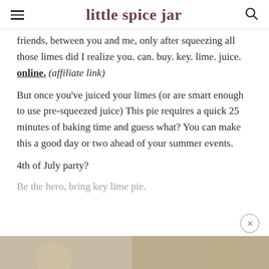little spice jar
friends, between you and me, only after squeezing all those limes did I realize you. can. buy. key. lime. juice. online. (affiliate link)
But once you've juiced your limes (or are smart enough to use pre-squeezed juice) This pie requires a quick 25 minutes of baking time and guess what? You can make this a good day or two ahead of your summer events.
4th of July party?
Be the hero, bring key lime pie.
[Figure (photo): Partial image strip at the bottom of the page showing a food/pie photograph]